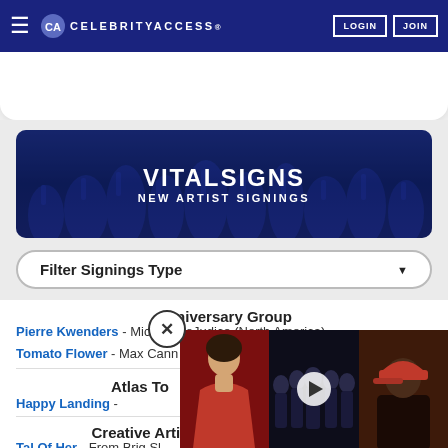CELEBRITYACCESS LOGIN JOIN
[Figure (screenshot): CelebrityAccess website header with navigation bar, logo, LOGIN and JOIN buttons]
VITALSIGNS NEW ARTIST SIGNINGS
Filter Signings Type
Anniversary Group
Pierre Kwenders - Michael LoJudice (North America)
Tomato Flower - Max Cann (North America & Asia)
Atlas To
Happy Landing -
Creative Artis
Tal Of Her - From Brig Sl...
[Figure (screenshot): Video overlay showing three celebrity photos with a play button in the center panel and a close (X) button]